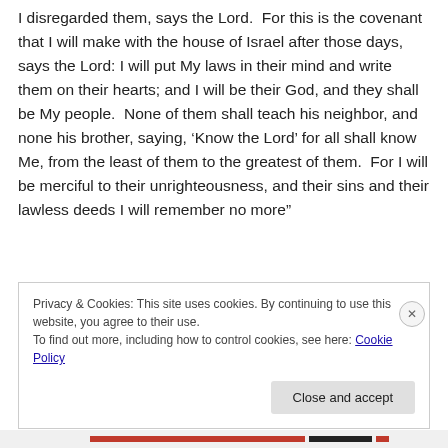I disregarded them, says the Lord.  For this is the covenant that I will make with the house of Israel after those days, says the Lord: I will put My laws in their mind and write them on their hearts; and I will be their God, and they shall be My people.  None of them shall teach his neighbor, and none his brother, saying, 'Know the Lord' for all shall know Me, from the least of them to the greatest of them.  For I will be merciful to their unrighteousness, and their sins and their lawless deeds I will remember no more"
Privacy & Cookies: This site uses cookies. By continuing to use this website, you agree to their use.
To find out more, including how to control cookies, see here: Cookie Policy